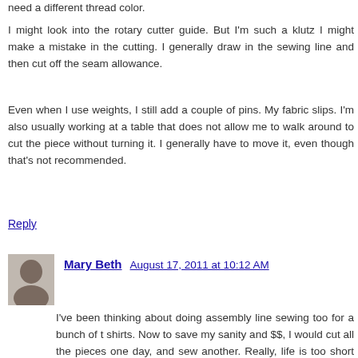need a different thread color.
I might look into the rotary cutter guide. But I'm such a klutz I might make a mistake in the cutting. I generally draw in the sewing line and then cut off the seam allowance.
Even when I use weights, I still add a couple of pins. My fabric slips. I'm also usually working at a table that does not allow me to walk around to cut the piece without turning it. I generally have to move it, even though that's not recommended.
Reply
Mary Beth   August 17, 2011 at 10:12 AM
I've been thinking about doing assembly line sewing too for a bunch of t shirts. Now to save my sanity and $$, I would cut all the pieces one day, and sew another. Really, life is too short when it all becomes a drudgery. And drinking on this job is perfectly fine. Just don't get tipsy or all your work is for naught.